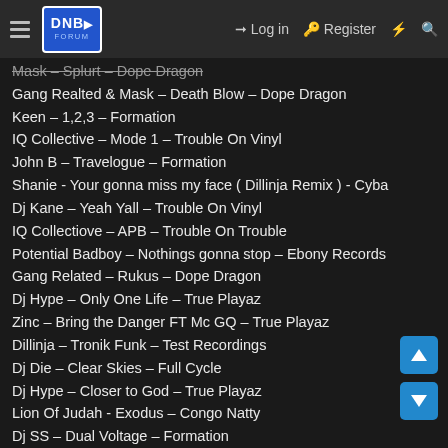DNB Forum – Log in – Register
Mask – Splurt – Dope Dragon
Gang Realted & Mask – Death Blow – Dope Dragon
Keen – 1,2,3 – Formation
IQ Collective – Mode 1 – Trouble On Vinyl
John B – Travelogue – Formation
Shanie - Your gonna miss my face ( Dillinja Remix ) - Cyba
Dj Kane – Yeah Yall – Trouble On Vinyl
IQ Collectiove – APB – Trouble On Trouble
Potential Badboy – Nothings gonna stop – Ebony Records
Gang Related – Rukus – Dope Dragon
Dj Hype – Only One Life – True Playaz
Zinc – Bring the Danger FT Mc GQ – True Playaz
Dillinja – Tronik Funk – Test Recordings
Dj Die – Clear Skies – Full Cycle
Dj Hype – Closer to God – True Playaz
Lion Of Judah - Exodus – Congo Natty
Dj SS – Dual Voltage – Formation
Peshay – Miles from home - Mo Wax
Known Unknown – The Unknown Sessions – Audio Culture
Breakbeat Era – Breakbeat Era Tear – XL Recordings